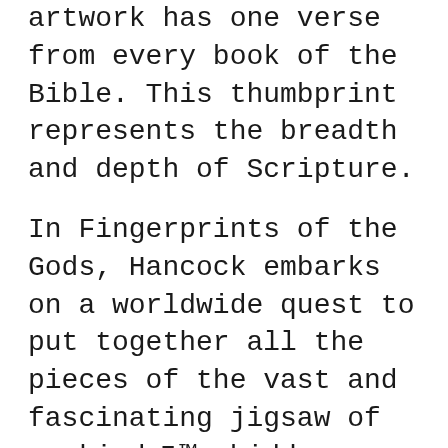artwork has one verse from every book of the Bible. This thumbprint represents the breadth and depth of Scripture.
In Fingerprints of the Gods, Hancock embarks on a worldwide quest to put together all the pieces of the vast and fascinating jigsaw of mankindвЂ™s hidden past. In ancient monuments as far apart as EgyptвЂ™s Great Sphinx, the strange Andean ruins of Tihuanaco, and MexicoвЂ™s awe-inspiring Temples of the Sun and Moon, he reveals not only the Books Description : Review 'I always wanted to do a biblical flood movie, but I never felt I had the hook. I first read about the Earth's Crust Displacement Theory in Graham